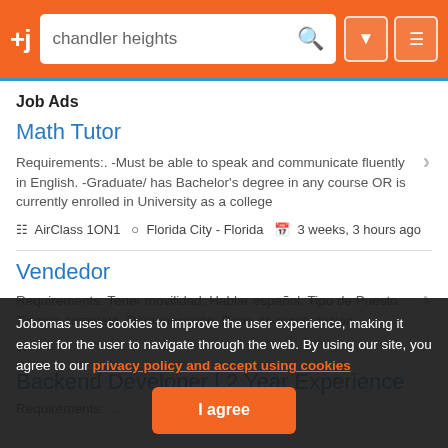+j  chandler heights  [search] [filter] [menu]
Job Ads
Math Tutor
Requirements:. -Must be able to speak and communicate fluently in English. -Graduate/ has Bachelor's degree in any course OR is currently enrolled in University as a college
AirClass 1ON1  Florida City - Florida  3 weeks, 3 hours ago
Vendedor
Requirements:  Tener movilidad. Hablar español. Tipo de Puesto: Tiempo completo. Remuneración: Bono de presentación
Backend Developer | 2 Year Experience
Jobomas uses cookies to improve the user experience, making it easier for the user to navigate through the web. By using our site, you agree to our privacy policy and accept using cookies
I agree